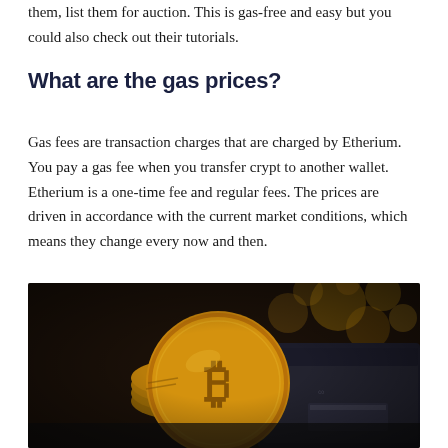them, list them for auction. This is gas-free and easy but you could also check out their tutorials.
What are the gas prices?
Gas fees are transaction charges that are charged by Etherium. You pay a gas fee when you transfer crypt to another wallet. Etherium is a one-time fee and regular fees. The prices are driven in accordance with the current market conditions, which means they change every now and then.
[Figure (photo): A photograph of gold Bitcoin coins stacked on top of a dark leather wallet, with bokeh background lighting.]